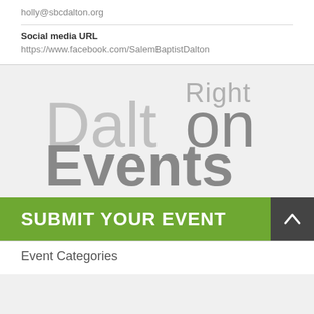holly@sbcdalton.org
Social media URL
https://www.facebook.com/SalemBaptistDalton
[Figure (logo): Right Dalton Events logo in grey tones with large text]
SUBMIT YOUR EVENT
Event Categories